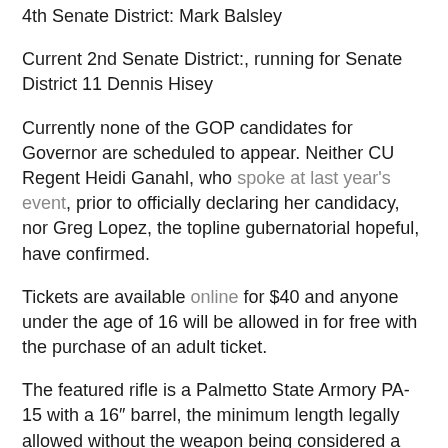4th Senate District: Mark Balsley
Current 2nd Senate District:, running for Senate District 11 Dennis Hisey
Currently none of the GOP candidates for Governor are scheduled to appear. Neither CU Regent Heidi Ganahl, who spoke at last year's event, prior to officially declaring her candidacy, nor Greg Lopez, the topline gubernatorial hopeful, have confirmed.
Tickets are available online for $40 and anyone under the age of 16 will be allowed in for free with the purchase of an adult ticket.
The featured rifle is a Palmetto State Armory PA-15 with a 16″ barrel, the minimum length legally allowed without the weapon being considered a short barrel rifle subject